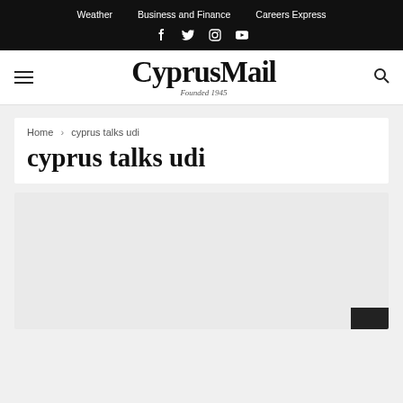Weather  Business and Finance  Careers Express
[Figure (logo): CyprusMail logo with social media icons (Facebook, Twitter, Instagram, YouTube) and Founded 1945 tagline]
Home > cyprus talks udi
cyprus talks udi
[Figure (photo): Article image placeholder - light gray rectangle with dark square in bottom right corner]